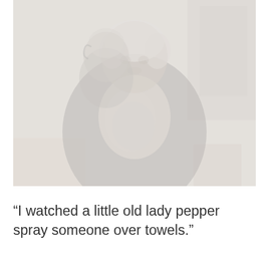[Figure (photo): A faded grayscale photograph of an elderly woman sitting at a table. She is wearing dark clothing with a light patterned scarf or blouse at the chest. Her hair appears white or light gray. The background shows some furniture or cabinetry. The image is very light and washed out.]
“I watched a little old lady pepper spray someone over towels.”